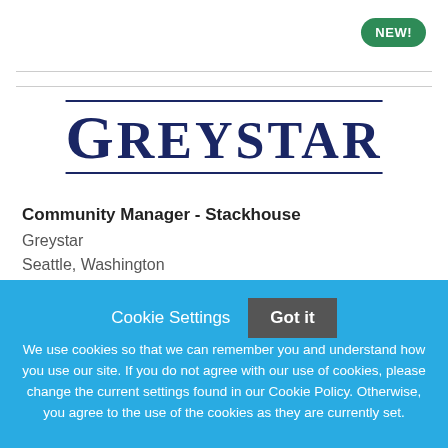[Figure (logo): Greystar company logo with dark navy text and horizontal rules above and below]
Community Manager - Stackhouse
Greystar
Seattle, Washington
Cookie Settings   Got it

We use cookies so that we can remember you and understand how you use our site. If you do not agree with our use of cookies, please change the current settings found in our Cookie Policy. Otherwise, you agree to the use of the cookies as they are currently set.